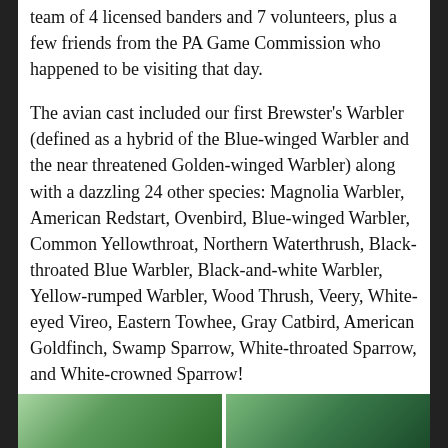team of 4 licensed banders and 7 volunteers, plus a few friends from the PA Game Commission who happened to be visiting that day.
The avian cast included our first Brewster's Warbler (defined as a hybrid of the Blue-winged Warbler and the near threatened Golden-winged Warbler) along with a dazzling 24 other species: Magnolia Warbler, American Redstart, Ovenbird, Blue-winged Warbler, Common Yellowthroat, Northern Waterthrush, Black-throated Blue Warbler, Black-and-white Warbler, Yellow-rumped Warbler, Wood Thrush, Veery, White-eyed Vireo, Eastern Towhee, Gray Catbird, American Goldfinch, Swamp Sparrow, White-throated Sparrow, and White-crowned Sparrow!
[Figure (photo): Two side-by-side nature/bird photographs at the bottom of the page, partially visible]